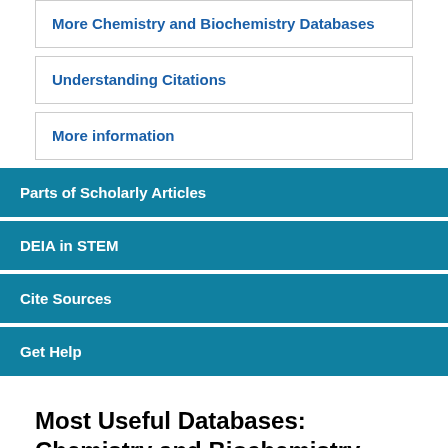More Chemistry and Biochemistry Databases
Understanding Citations
More information
Parts of Scholarly Articles
DEIA in STEM
Cite Sources
Get Help
Most Useful Databases: Chemistry and Biochemistry